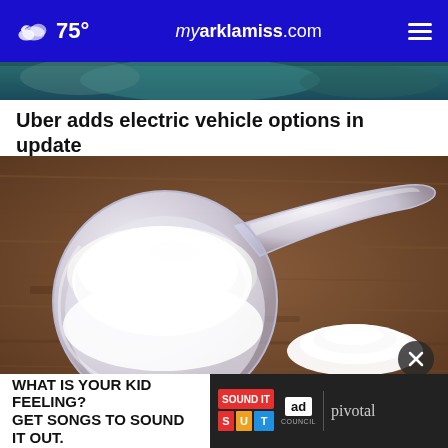75° myarklamiss.com
[Figure (photo): A partial image strip at the top of a news article, showing blurred teal/dark background — previous article image.]
Uber adds electric vehicle options in update
[Figure (photo): A plastic measuring scoop filled with white powder (protein powder or similar supplement) on a rustic wooden table, with a small pile of white powder next to it.]
A Te... Wei...
[Figure (other): Advertisement banner: 'WHAT IS YOUR KID FEELING? GET SONGS TO SOUND IT OUT.' with Sound It Out logo, Ad Council logo, and Pivotal branding.]